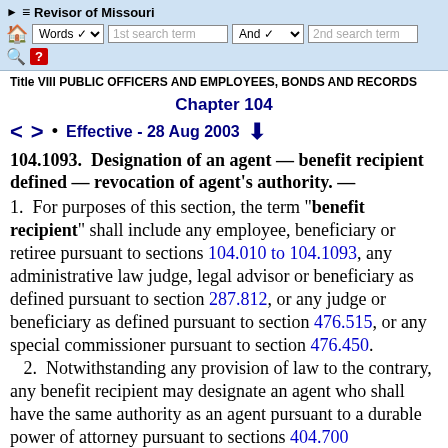Revisor of Missouri — toolbar navigation
Title VIII PUBLIC OFFICERS AND EMPLOYEES, BONDS AND RECORDS
Chapter 104
< > • Effective - 28 Aug 2003 ↓
104.1093. Designation of an agent — benefit recipient defined — revocation of agent's authority. —
1.  For purposes of this section, the term "benefit recipient" shall include any employee, beneficiary or retiree pursuant to sections 104.010 to 104.1093, any administrative law judge, legal advisor or beneficiary as defined pursuant to section 287.812, or any judge or beneficiary as defined pursuant to section 476.515, or any special commissioner pursuant to section 476.450.
2.  Notwithstanding any provision of law to the contrary, any benefit recipient may designate an agent who shall have the same authority as an agent pursuant to a durable power of attorney pursuant to sections 404.700